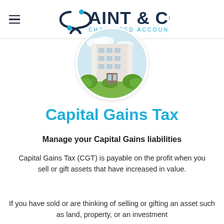Saint & Co Chartered Accountants
[Figure (photo): Circular cropped photo of a white apartment building with green trees and bushes in the foreground]
Capital Gains Tax
Manage your Capital Gains liabilities
Capital Gains Tax (CGT) is payable on the profit when you sell or gift assets that have increased in value.
If you have sold or are thinking of selling or gifting an asset such as land, property, or an investment